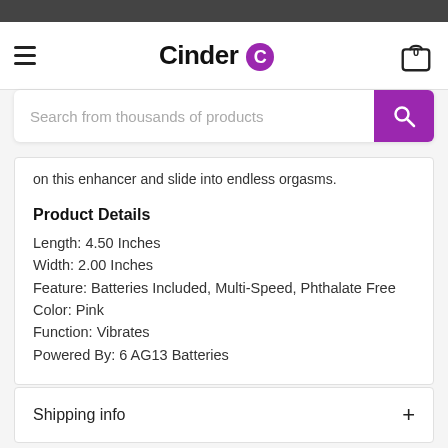Cinder - Search from thousands of products
on this enhancer and slide into endless orgasms.
Product Details
Length: 4.50 Inches
Width: 2.00 Inches
Feature: Batteries Included, Multi-Speed, Phthalate Free
Color: Pink
Function: Vibrates
Powered By: 6 AG13 Batteries
Shipping info